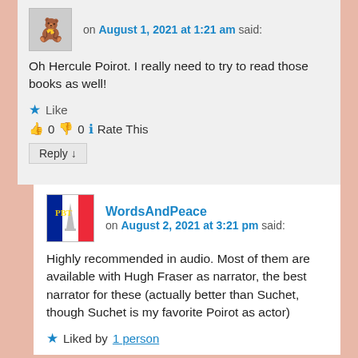on August 1, 2021 at 1:21 am said:
Oh Hercule Poirot. I really need to try to read those books as well!
★ Like
👍 0 👎 0 ℹ Rate This
Reply ↓
WordsAndPeace on August 2, 2021 at 3:21 pm said:
Highly recommended in audio. Most of them are available with Hugh Fraser as narrator, the best narrator for these (actually better than Suchet, though Suchet is my favorite Poirot as actor)
★ Liked by 1 person